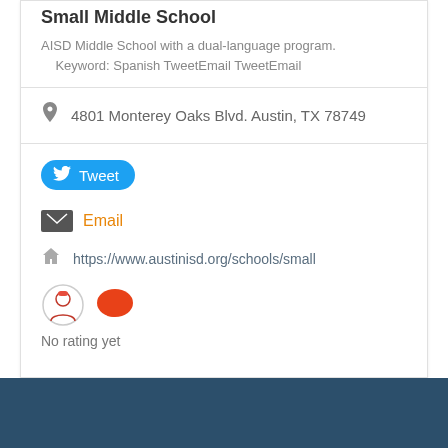Small Middle School
AISD Middle School with a dual-language program.    Keyword: Spanish TweetEmail TweetEmail
4801 Monterey Oaks Blvd. Austin, TX 78749
Tweet
Email
https://www.austinisd.org/schools/small
No rating yet